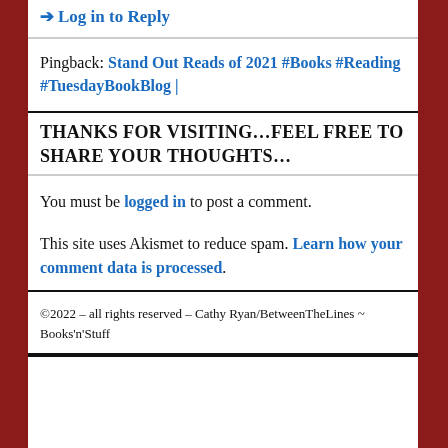→ Log in to Reply
Pingback: Stand Out Reads of 2021 #Books #Reading #TuesdayBookBlog |
THANKS FOR VISITING...FEEL FREE TO SHARE YOUR THOUGHTS...
You must be logged in to post a comment.
This site uses Akismet to reduce spam. Learn how your comment data is processed.
©2022 - all rights reserved - Cathy Ryan/BetweenTheLines ~ Books'n'Stuff